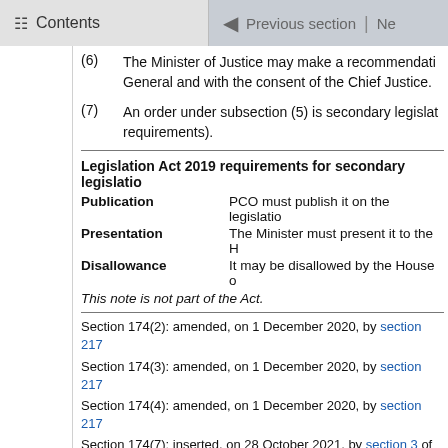Contents | Previous section | Ne
(6) The Minister of Justice may make a recommendation after consulting the Attorney-General and with the consent of the Chief Justice.
(7) An order under subsection (5) is secondary legislation (see Part 3 of the Legislation Act 2019 for publication requirements).
Legislation Act 2019 requirements for secondary legislation
|  |  |
| --- | --- |
| Publication | PCO must publish it on the legislation |
| Presentation | The Minister must present it to the H |
| Disallowance | It may be disallowed by the House o |
This note is not part of the Act.
Section 174(2): amended, on 1 December 2020, by section 217
Section 174(3): amended, on 1 December 2020, by section 217
Section 174(4): amended, on 1 December 2020, by section 217
Section 174(7): inserted, on 28 October 2021, by section 3 of th
175 Requirements that Registrars disclose i
(1) If any enactment requires a Registrar to notify a re proceedings, that requirement is not affected by an